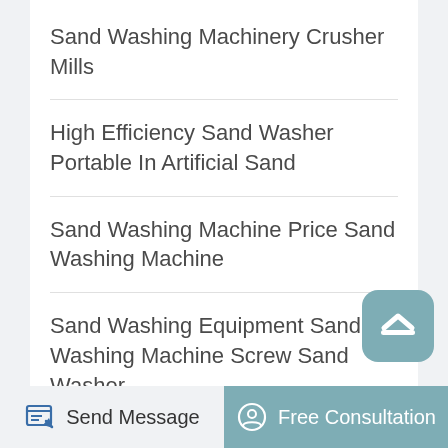Sand Washing Machinery Crusher Mills
High Efficiency Sand Washer Portable In Artificial Sand
Sand Washing Machine Price Sand Washing Machine
Sand Washing Equipment Sand Washing Machine Screw Sand Washer
Advantages Of Silica Sand Washing Plant
Indonesia Sand Washer Plant For Sale For Mining
Send Message   Free Consultation